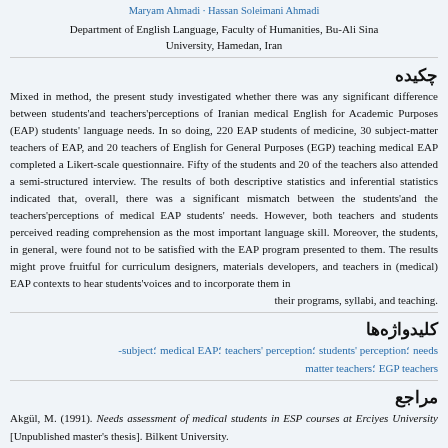Maryam Ahmadi · Hassan Soleimani Ahmadi
Department of English Language, Faculty of Humanities, Bu-Ali Sina University, Hamedan, Iran
چکیده
Mixed in method, the present study investigated whether there was any significant difference between students'and teachers'perceptions of Iranian medical English for Academic Purposes (EAP) students' language needs. In so doing, 220 EAP students of medicine, 30 subject-matter teachers of EAP, and 20 teachers of English for General Purposes (EGP) teaching medical EAP completed a Likert-scale questionnaire. Fifty of the students and 20 of the teachers also attended a semi-structured interview. The results of both descriptive statistics and inferential statistics indicated that, overall, there was a significant mismatch between the students'and the teachers'perceptions of medical EAP students' needs. However, both teachers and students perceived reading comprehension as the most important language skill. Moreover, the students, in general, were found not to be satisfied with the EAP program presented to them. The results might prove fruitful for curriculum designers, materials developers, and teachers in (medical) EAP contexts to hear students'voices and to incorporate them in their programs, syllabi, and teaching.
کلیدواژه‌ها
needs ؛students' perception ؛teachers' perception ؛medical EAP ؛subject-matter teachers ؛EGP teachers
مراجع
Akgül, M. (1991). Needs assessment of medical students in ESP courses at Erciyes University [Unpublished master's thesis]. Bilkent University.